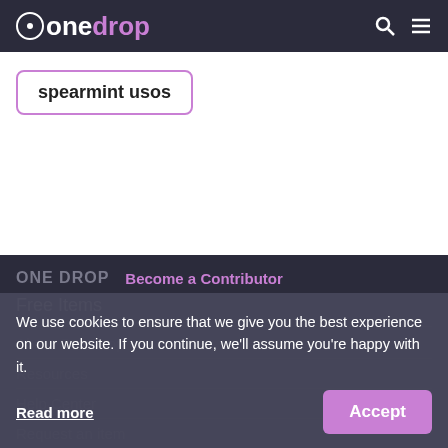onedrop
spearmint usos
ONE DROP   Become a Contributor
Free Items
About One Drop
Resources
Help Center
Request an item
We use cookies to ensure that we give you the best experience on our website. If you continue, we'll assume you're happy with it.
Read more
Accept